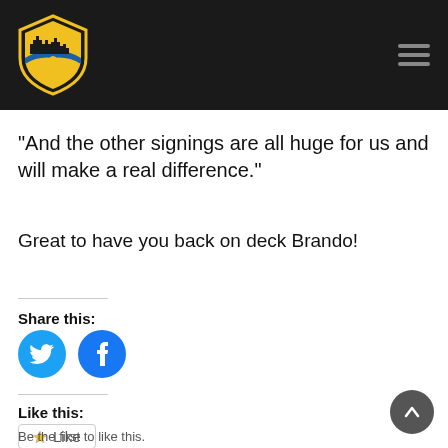Carlsbad FC navigation header with logo and hamburger menu
“And the other signings are all huge for us and will make a real difference.”
Great to have you back on deck Brando!
Share this:
[Figure (illustration): Twitter (bird) and Facebook social share icon buttons, circular blue icons]
Like this:
Like
Be the first to like this.